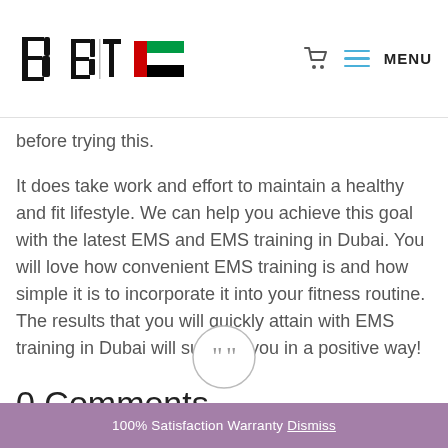[Figure (logo): Body Time logo with stylized B letter and UAE flag]
before trying this.
It does take work and effort to maintain a healthy and fit lifestyle. We can help you achieve this goal with the latest EMS and EMS training in Dubai. You will love how convenient EMS training is and how simple it is to incorporate it into your fitness routine. The results that you will quickly attain with EMS training in Dubai will surprise you in a positive way!
0 Comments
[Figure (illustration): Comment/quote icon circle at bottom of page]
100% Satisfaction Warranty Dismiss